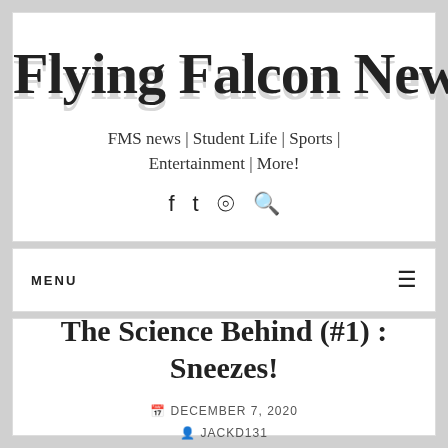Flying Falcon News
FMS news | Student Life | Sports | Entertainment | More!
MENU
The Science Behind (#1) : Sneezes!
DECEMBER 7, 2020
JACKD131